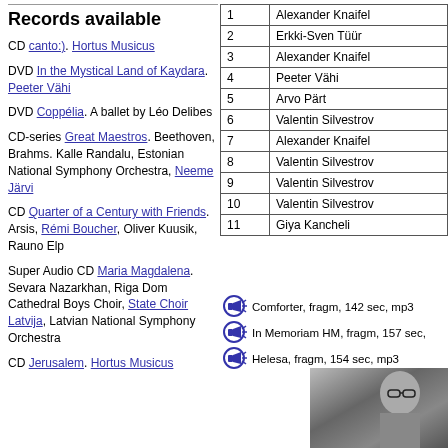Records available
CD canto:). Hortus Musicus
DVD In the Mystical Land of Kaydara. Peeter Vähi
DVD Coppélia. A ballet by Léo Delibes
CD-series Great Maestros. Beethoven, Brahms. Kalle Randalu, Estonian National Symphony Orchestra, Neeme Järvi
CD Quarter of a Century with Friends. Arsis, Rémi Boucher, Oliver Kuusik, Rauno Elp
Super Audio CD Maria Magdalena. Sevara Nazarkhan, Riga Dom Cathedral Boys Choir, State Choir Latvija, Latvian National Symphony Orchestra
CD Jerusalem. Hortus Musicus
| # | Composer |
| --- | --- |
| 1 | Alexander Knaifel |
| 2 | Erkki-Sven Tüür |
| 3 | Alexander Knaifel |
| 4 | Peeter Vähi |
| 5 | Arvo Pärt |
| 6 | Valentin Silvestrov |
| 7 | Alexander Knaifel |
| 8 | Valentin Silvestrov |
| 9 | Valentin Silvestrov |
| 10 | Valentin Silvestrov |
| 11 | Giya Kancheli |
Comforter, fragm, 142 sec, mp3
In Memoriam HM, fragm, 157 sec,
Helesa, fragm, 154 sec, mp3
[Figure (photo): Black and white photo of a person wearing glasses, partially visible]